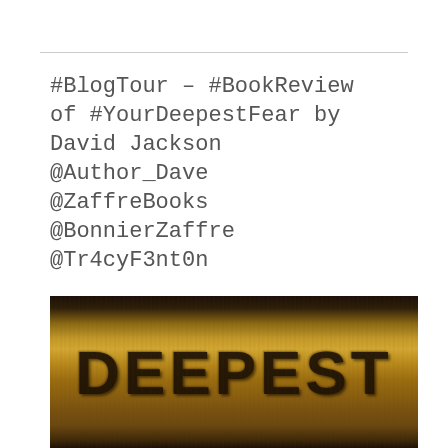#BlogTour – #BookReview of #YourDeepestFear by David Jackson @Author_Dave @ZaffreBooks @BonnierZaffre @Tr4cyF3nt0n
[Figure (photo): Close-up photograph of weathered wooden surface with the word DEEPEST burned or branded into it in large dark capital letters]